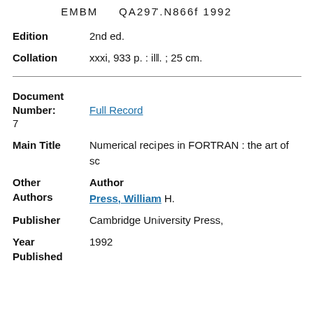EMBM    QA297.N866f 1992
Edition    2nd ed.
Collation    xxxi, 933 p. : ill. ; 25 cm.
Document Number: Full Record 7
Main Title    Numerical recipes in FORTRAN : the art of sc
Other Authors    Author    Press, William H.
Publisher    Cambridge University Press,
Year Published    1992